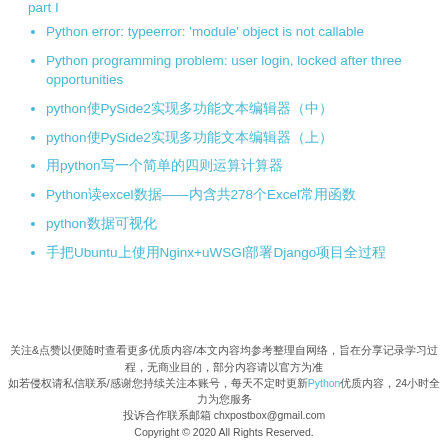part I
Python error: typeerror: 'module' object is not callable
Python programming problem: user login, locked after three opportunities
python使PySide2实现多功能文本编辑器（中）
python使PySide2实现多功能文本编辑器（上）
用python写一个简单的四则运算计算器
Python读excel数据——内含共278个Excel常用函数
python数据可视化
手把Ubuntu上使用Nginx+uWSGI部署Django项目全过程
关注&点赞以便随时查看更多优质内容/本文内容均参考整理自网络，旨在分享记录学习过程，无商业目的，部分内容请以官方为准
如若侵权请私信联系/感谢您持续关注本账号，每天不定时更新Python优质内容，24小时全力为您服务
投诉合作联系邮箱 chxpostbox@gmail.com
Copyright © 2020 All Rights Reserved.